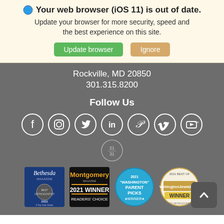🌐 Your web browser (iOS 11) is out of date. Update your browser for more security, speed and the best experience on this site.
Update browser | Ignore
Rockville, MD 20850
301.315.8200
Follow Us
[Figure (illustration): Social media icons in circles: Facebook, Instagram, Twitter, LinkedIn, Pinterest, Vimeo, YouTube, and a small circular badge with 21/31]
[Figure (illustration): Award badges: Bethesda Magazine 2022 A Top Vote Getter, Montgomery Magazine 2021 Winner Readers' Choice, 2021 Washington Parent Picks Winner, 2021 Best of Washington Jewish Week Winner]